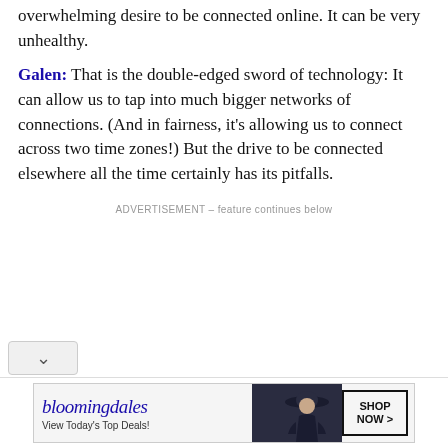overwhelming desire to be connected online. It can be very unhealthy.
Galen: That is the double-edged sword of technology: It can allow us to tap into much bigger networks of connections. (And in fairness, it's allowing us to connect across two time zones!) But the drive to be connected elsewhere all the time certainly has its pitfalls.
ADVERTISEMENT – feature continues below
[Figure (screenshot): Bloomingdale's advertisement banner with woman in hat and 'SHOP NOW >' button]